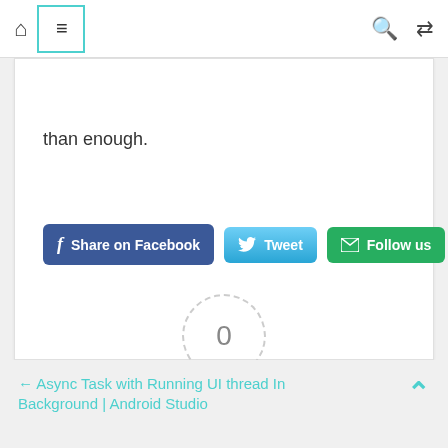Home | Menu | Search | Shuffle
than enough.
Share on Facebook | Tweet | Follow us
[Figure (other): Article rating widget showing 0 rating in a dashed circle, dashes line, Article Rating label, and 5 empty grey stars]
← Async Task with Running UI thread In Background | Android Studio